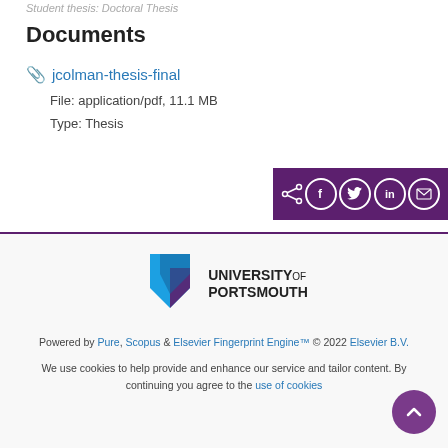Student thesis: Doctoral Thesis
Documents
jcolman-thesis-final
File: application/pdf, 11.1 MB
Type: Thesis
[Figure (other): Share bar with social media icons: share, Facebook, Twitter, LinkedIn, email on purple background]
[Figure (logo): University of Portsmouth logo with shield icon and text]
Powered by Pure, Scopus & Elsevier Fingerprint Engine™ © 2022 Elsevier B.V.
We use cookies to help provide and enhance our service and tailor content. By continuing you agree to the use of cookies